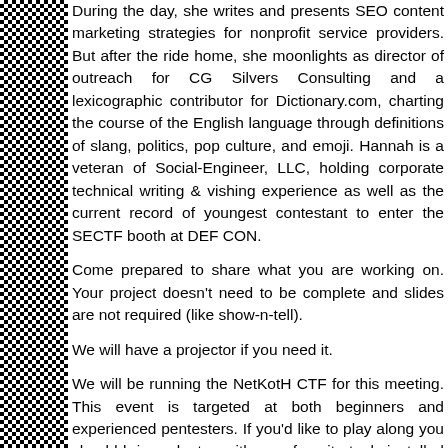During the day, she writes and presents SEO content marketing strategies for nonprofit service providers. But after the ride home, she moonlights as director of outreach for CG Silvers Consulting and a lexicographic contributor for Dictionary.com, charting the course of the English language through definitions of slang, politics, pop culture, and emoji. Hannah is a veteran of Social-Engineer, LLC, holding corporate technical writing and vishing experience as well as the current record of youngest contestant to enter the SECTF booth at DEF CON.
Come prepared to share what you are working on. Your project doesn't need to be complete and slides are not required (like show-n-tell).
We will have a projector if you need it.
We will be running the NetKotH CTF for this meeting. This event is targeted at both beginners and experienced pentesters. If you'd like to play along you should bring a laptop with your favorite tools installed (like Kali Linux or ArchStrike). If you are new to CTFs there will be plenty of people willing to help you get started.
https://www.kali.org/
https://archstrike.org/
More information about NetKotH can be found here: